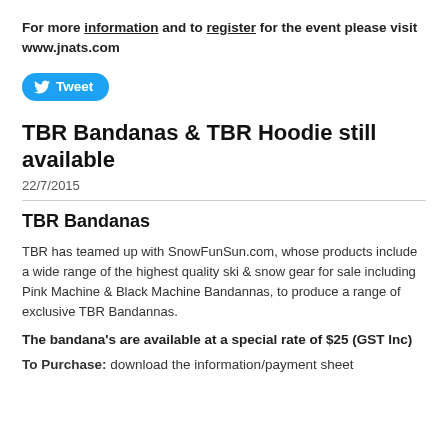For more information and to register for the event please visit www.jnats.com
[Figure (other): Twitter Tweet button with bird logo]
TBR Bandanas & TBR Hoodie still available
22/7/2015
TBR Bandanas
TBR has teamed up with SnowFunSun.com, whose products include a wide range of the highest quality ski & snow gear for sale including Pink Machine & Black Machine Bandannas, to produce a range of exclusive TBR Bandannas.
The bandana's are available at a special rate of $25 (GST Inc)
To Purchase: download the information/payment sheet